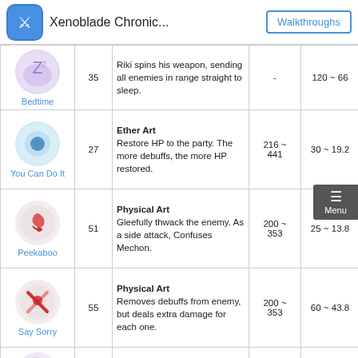Xenoblade Chronic... | Walkthroughs
| Skill | Lvl | Description | Range | Cooldown |
| --- | --- | --- | --- | --- |
| Bedtime | 35 | Riki spins his weapon, sending all enemies in range straight to sleep. | - | 120 ~ 66 |
| You Can Do It | 27 | Ether Art
Restore HP to the party. The more debuffs, the more HP restored. | 216 ~ 441 | 30 ~ 19.2 |
| Peekaboo | 51 | Physical Art
Gleefully thwack the enemy. As a side attack, Confuses Mechon. | 200 ~ 353 | 25 ~ 13.8 |
| Say Sorry | 55 | Physical Art
Removes debuffs from enemy, but deals extra damage for each one. | 200 ~ 353 | 60 ~ 43.8 |
| (fire skill) | 43 | Ether Art
Riki spits out fire, scorching all enemies in... | 100 ~ 172 | 90 ~ 25.2 |